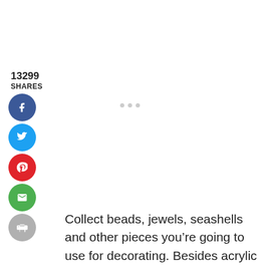13299
SHARES
[Figure (infographic): Social sharing buttons: Facebook (blue circle with f), Twitter (blue circle with bird), Pinterest (red circle with P), Email (green circle with envelope), Print (gray circle with printer)]
Collect beads, jewels, seashells and other pieces you’re going to use for decorating. Besides acrylic beads, we used beach glass and seashells. If you push beads and